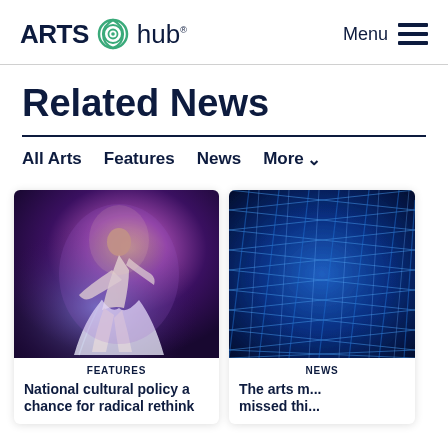ARTS hub® — Menu
Related News
All Arts   Features   News   More▾
[Figure (photo): A dancer in flowing white costume spinning against a dark purple-blue stage backdrop with dramatic lighting]
FEATURES
National cultural policy a chance for radical rethink
[Figure (photo): Close-up of blue textured net or mesh fabric]
NEWS
The arts m... missed thi...